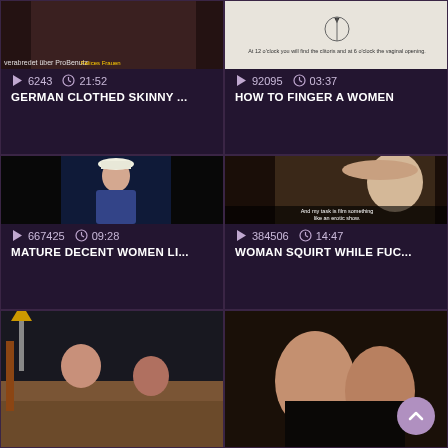[Figure (screenshot): Video thumbnail - clothed person in black and white with text overlay 'verabredet über ProBenutz']
6243  21:52
GERMAN CLOTHED SKINNY ...
[Figure (screenshot): Video thumbnail - anatomical diagram with text 'At 12 o'clock you will find the clitoris and at 6 o'clock the vaginal opening.']
92095  03:37
HOW TO FINGER A WOMEN
[Figure (screenshot): Video thumbnail - woman in swimsuit at pool]
667425  09:28
MATURE DECENT WOMEN LI...
[Figure (screenshot): Video thumbnail - blonde woman with subtitle 'And my task is film something like an erotic show.']
384506  14:47
WOMAN SQUIRT WHILE FUC...
[Figure (screenshot): Video thumbnail - two people on a couch with guitar visible]
[Figure (screenshot): Video thumbnail - two women in intimate scene with scroll-up button overlay]